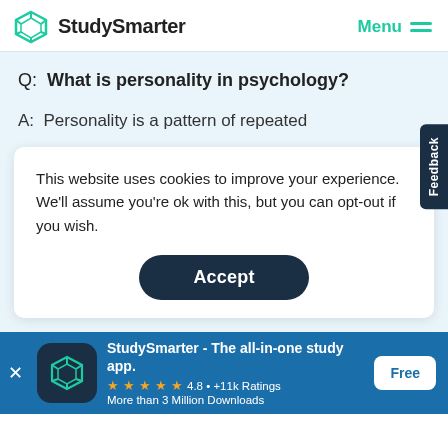StudySmarter   Menu
Q:  What is personality in psychology?
A:  Personality is a pattern of repeated
This website uses cookies to improve your experience. We'll assume you're ok with this, but you can opt-out if you wish.
Accept
Feedback
StudySmarter - The all-in-one study app.
★★★★★  4.8 • +11k Ratings
More than 3 Million Downloads
Free